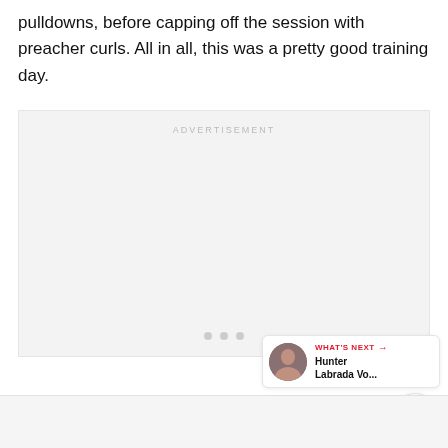pulldowns, before capping off the session with preacher curls. All in all, this was a pretty good training day.
[Figure (other): Advertisement placeholder box with 'ADVERTISEMENT' label and three grey dots at the bottom]
[Figure (other): Red circular like/heart button (FAB)]
[Figure (other): White circular share button (FAB) with share icon]
[Figure (other): What's Next card showing thumbnail and Hunter Labrada Vo... text]